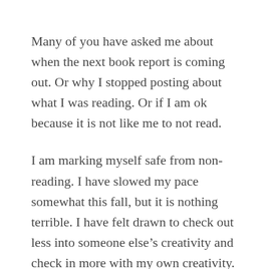Many of you have asked me about when the next book report is coming out. Or why I stopped posting about what I was reading. Or if I am ok because it is not like me to not read.
I am marking myself safe from non-reading. I have slowed my pace somewhat this fall, but it is nothing terrible. I have felt drawn to check out less into someone else's creativity and check in more with my own creativity. Let me translate for those less woo woo in the audience. What this practically means is that at the literal end of the day (vs. the corporate “at the end of the day, Bob” that makes me want to barf